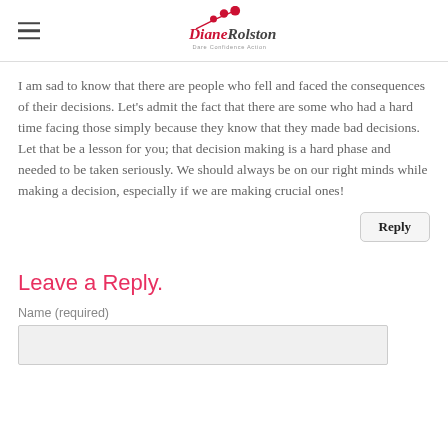Diane Rolston — Dare Confidence Action
I am sad to know that there are people who fell and faced the consequences of their decisions. Let's admit the fact that there are some who had a hard time facing those simply because they know that they made bad decisions. Let that be a lesson for you; that decision making is a hard phase and needed to be taken seriously. We should always be on our right minds while making a decision, especially if we are making crucial ones!
Leave a Reply.
Name (required)